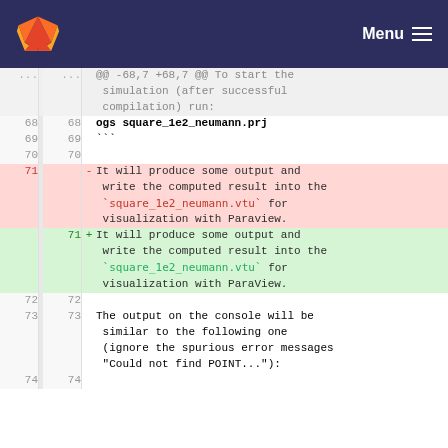[Figure (screenshot): GitLab navigation bar with fox logo and Menu hamburger button]
@@ -68,7 +68,7 @@ To start the simulation (after successful compilation) run:
68  68  ogs square_1e2_neumann.prj
69  69  ```
70  70
71     - It will produce some output and write the computed result into the `square_1e2_neumann.vtu` for visualization with Paraview.
71  + It will produce some output and write the computed result into the `square_1e2_neumann.vtu` for visualization with ParaView.
72  72
73  73  The output on the console will be similar to the following one (ignore the spurious error messages "Could not find POINT..."):
74  74